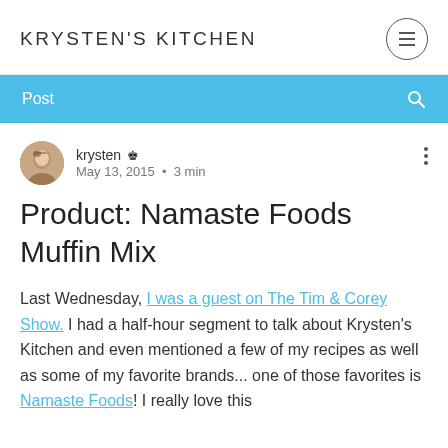KRYSTEN'S KITCHEN
Post
krysten  Admin
May 13, 2015 · 3 min
Product: Namaste Foods Muffin Mix
Last Wednesday, I was a guest on The Tim & Corey Show. I had a half-hour segment to talk about Krysten's Kitchen and even mentioned a few of my recipes as well as some of my favorite brands... one of those favorites is Namaste Foods! I really love this